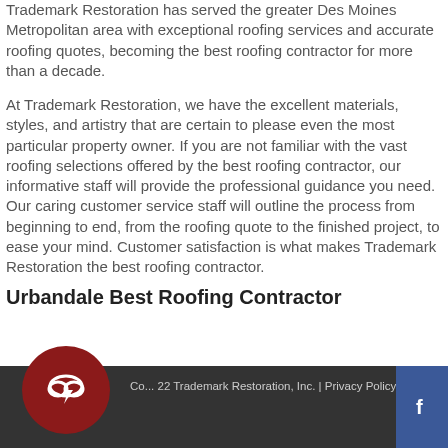Trademark Restoration has served the greater Des Moines Metropolitan area with exceptional roofing services and accurate roofing quotes, becoming the best roofing contractor for more than a decade.
At Trademark Restoration, we have the excellent materials, styles, and artistry that are certain to please even the most particular property owner. If you are not familiar with the vast roofing selections offered by the best roofing contractor, our informative staff will provide the professional guidance you need. Our caring customer service staff will outline the process from beginning to end, from the roofing quote to the finished project, to ease your mind. Customer satisfaction is what makes Trademark Restoration the best roofing contractor.
Urbandale Best Roofing Contractor
Co... 22 Trademark Restoration, Inc. | Privacy Policy